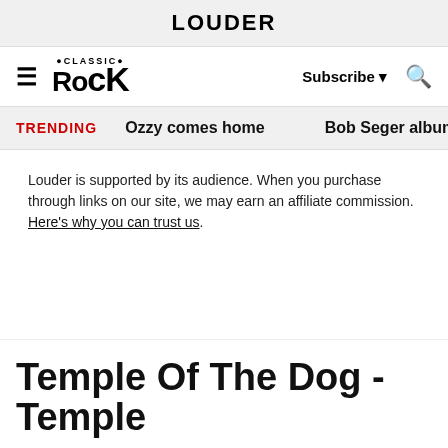LOUDER
Classic Rock | Subscribe | Search
TRENDING   Ozzy comes home   Bob Seger albums ra
Louder is supported by its audience. When you purchase through links on our site, we may earn an affiliate commission. Here's why you can trust us.
Temple Of The Dog - Temple